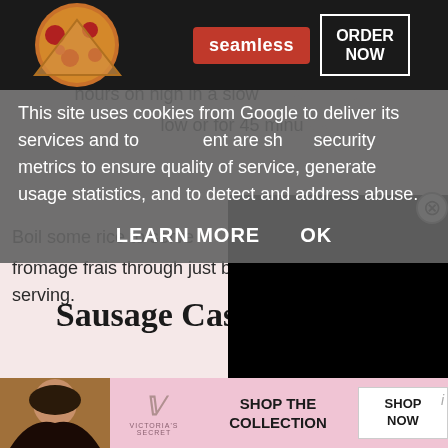[Figure (screenshot): Screenshot of a website with multiple overlapping UI elements: a cookie consent notice overlay with a Seamless food delivery advertisement banner, recipe text about slow cooker cooking instructions, a black video/ad rectangle, a 'Sausage Casserole' section heading with a CLOSE button, and a Victoria's Secret advertisement at the bottom.]
This site uses cookies from Google to deliver its services and to ... ent are sh... security metrics to ensure quality of service, generate usage statistics, and to detect and address abuse.
LEARN MORE   OK
cooking. Remove from the bag before placing in the Slow C...
hours on high in a slow... low or for 45 minu...
Boil some rice to serve... fromage frais through just before serving.
Sausage Casserole
[Figure (photo): Victoria's Secret advertisement banner with a woman's photo, VS logo, 'SHOP THE COLLECTION' text, and a 'SHOP NOW' button on pink background]